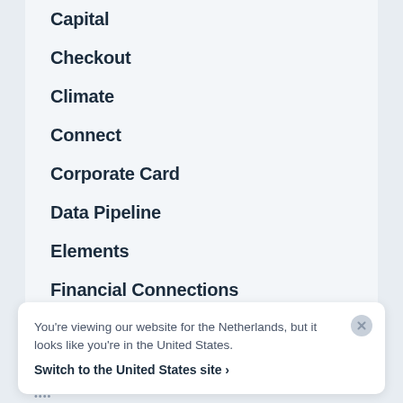Capital
Checkout
Climate
Connect
Corporate Card
Data Pipeline
Elements
Financial Connections
Identity
Invoicing
Issuing
Payments
You're viewing our website for the Netherlands, but it looks like you're in the United States.
Switch to the United States site ›